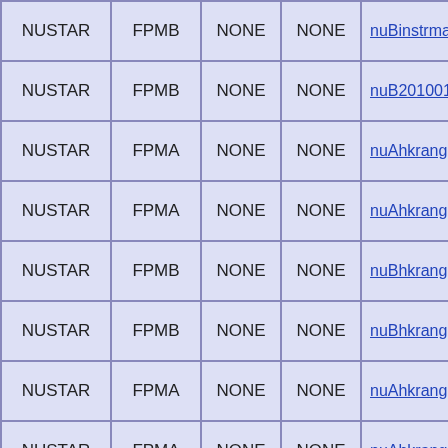| NUSTAR | FPMB | NONE | NONE | nuBinstrmap20100101v004 |
| NUSTAR | FPMB | NONE | NONE | nuB20100101v006.arf |
| NUSTAR | FPMA | NONE | NONE | nuAhkrange01_20100101v0 |
| NUSTAR | FPMA | NONE | NONE | nuAhkrange01_20100101v0 |
| NUSTAR | FPMB | NONE | NONE | nuBhkrange01_20100101v0 |
| NUSTAR | FPMB | NONE | NONE | nuBhkrange01_20100101v0 |
| NUSTAR | FPMA | NONE | NONE | nuAhkrange02_20100101v0 |
| NUSTAR | FPMA | NONE | NONE | nuAhkrange02_20100101v0 |
| NUSTAR | FPMA | NONE | NONE | nuAhkrange03_20100101v0 |
| NUSTAR | FPMA | NONE | NONE | nuAhkrange03_20100101v0 |
| NUSTAR | FPMA | NONE | NONE | nuAhkrange04_20100101v0 |